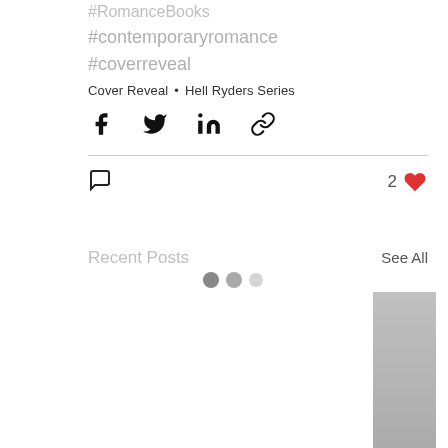#RomanceBooks #contemporaryromance #coverreveal
Cover Reveal • Hell Ryders Series
[Figure (infographic): Social share icons: Facebook, Twitter, LinkedIn, Link/chain]
[Figure (infographic): Comment icon and 2 likes with heart icon]
Recent Posts
See All
[Figure (infographic): Three loading dots (two dark, one light gray)]
[Figure (photo): Book cover thumbnail on the right side, gray rectangle]